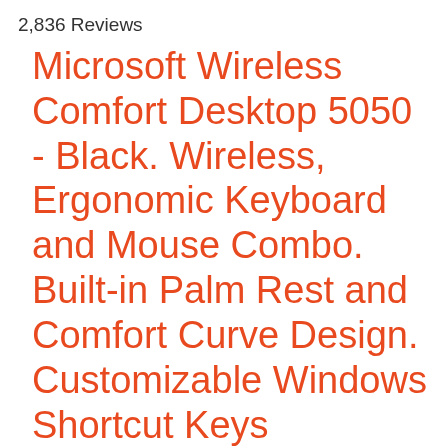2,836 Reviews
Microsoft Wireless Comfort Desktop 5050 - Black. Wireless, Ergonomic Keyboard and Mouse Combo. Built-in Palm Rest and Comfort Curve Design. Customizable Windows Shortcut Keys
Ergonomist Approved Comfort Curve Design ; Designed to fit your right or left hand
Advanced Encryption Standard